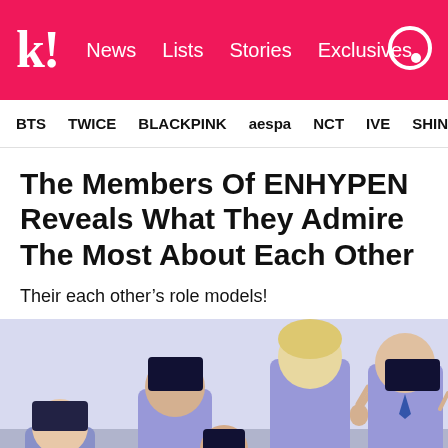k! News  Lists  Stories  Exclusives
BTS  TWICE  BLACKPINK  aespa  NCT  IVE  SHINe
The Members Of ENHYPEN Reveals What They Admire The Most About Each Other
Their each other’s role models!
[Figure (photo): ENHYPEN members posing in light blue/lavender shirts in school uniform style; multiple members visible including some making peace signs]